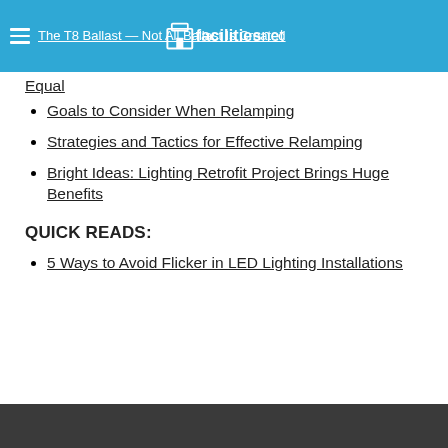The T8 Ballast — Not All Ballast Is Created Equal | facilitiesnet
The T8 Ballast — Not All Ballast Is Created Equal
Goals to Consider When Relamping
Strategies and Tactics for Effective Relamping
Bright Ideas: Lighting Retrofit Project Brings Huge Benefits
QUICK READS:
5 Ways to Avoid Flicker in LED Lighting Installations